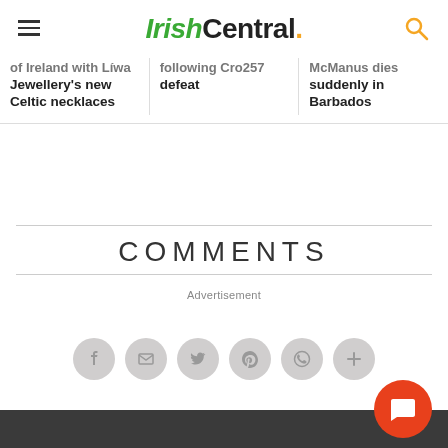IrishCentral.
of Ireland with Líwa Jewellery's new Celtic necklaces
following Cro257 defeat
McManus dies suddenly in Barbados
COMMENTS
Advertisement